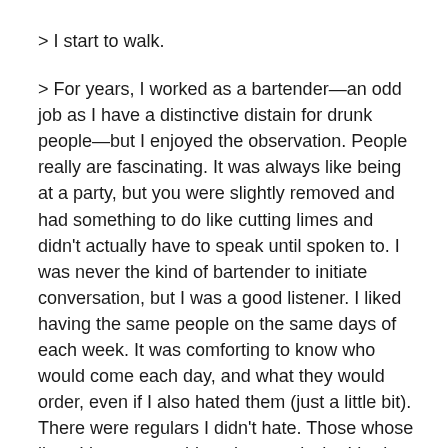> I start to walk.
> For years, I worked as a bartender—an odd job as I have a distinctive distain for drunk people—but I enjoyed the observation. People really are fascinating. It was always like being at a party, but you were slightly removed and had something to do like cutting limes and didn't actually have to speak until spoken to. I was never the kind of bartender to initiate conversation, but I was a good listener. I liked having the same people on the same days of each week. It was comforting to know who would come each day, and what they would order, even if I also hated them (just a little bit). There were regulars I didn't hate. Those whose lives I knew something about and who I had grown to, if not like, then genuinely care for. And I was happy. I think.